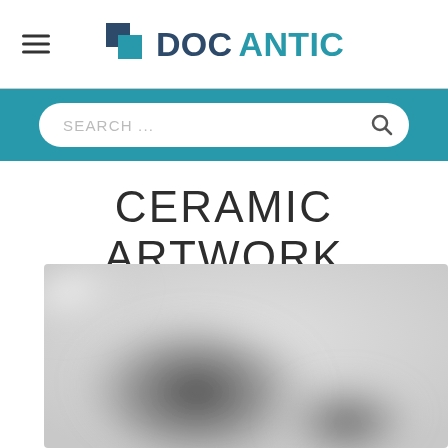DOCANTIC
SEARCH ...
CERAMIC ARTWORK
[Figure (photo): Blurred grayscale photograph of a ceramic artwork piece, showing rounded dark forms against a light background]